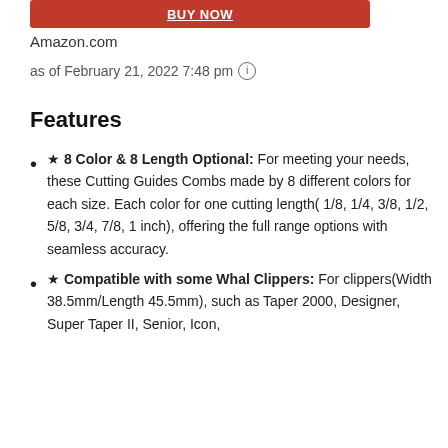[Figure (other): Red button with white underlined text (Buy Now or similar), Amazon.com button widget]
Amazon.com
as of February 21, 2022 7:48 pm ⓘ
Features
★ 8 Color & 8 Length Optional: For meeting your needs, these Cutting Guides Combs made by 8 different colors for each size. Each color for one cutting length( 1/8, 1/4, 3/8, 1/2, 5/8, 3/4, 7/8, 1 inch), offering the full range options with seamless accuracy.
★ Compatible with some Whal Clippers: For clippers(Width 38.5mm/Length 45.5mm), such as Taper 2000, Designer, Super Taper II, Senior, Icon,